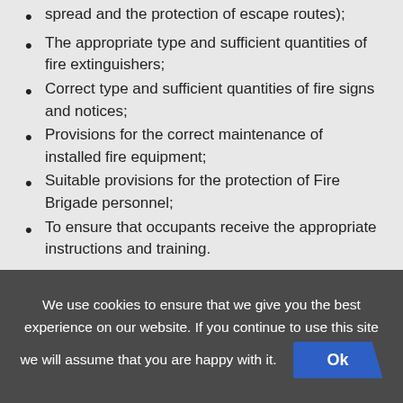spread and the protection of escape routes);
The appropriate type and sufficient quantities of fire extinguishers;
Correct type and sufficient quantities of fire signs and notices;
Provisions for the correct maintenance of installed fire equipment;
Suitable provisions for the protection of Fire Brigade personnel;
To ensure that occupants receive the appropriate instructions and training.
Who Enforces The Order?
We use cookies to ensure that we give you the best experience on our website. If you continue to use this site we will assume that you are happy with it.